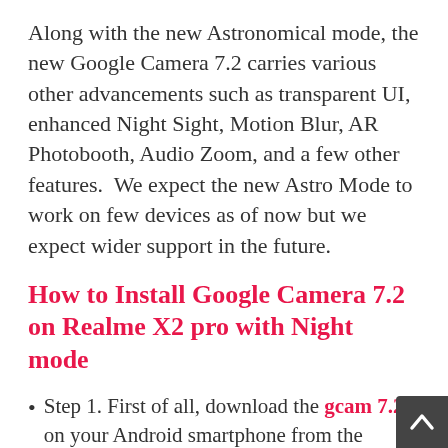Along with the new Astronomical mode, the new Google Camera 7.2 carries various other advancements such as transparent UI, enhanced Night Sight, Motion Blur, AR Photobooth, Audio Zoom, and a few other features.  We expect the new Astro Mode to work on few devices as of now but we expect wider support in the future.
How to Install Google Camera 7.2 on Realme X2 pro with Night mode
Step 1. First of all, download the gcam 7.2 on your Android smartphone from the download link given below. Make sure to remember the location where you have saved the file.
Step 2. Once downloaded, you need to enable the Unknown Sources on you